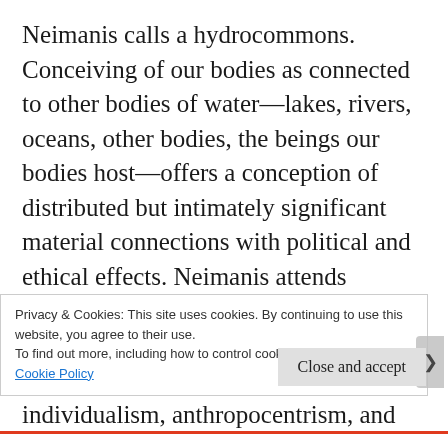Neimanis calls a hydrocommons. Conceiving of our bodies as connected to other bodies of water—lakes, rivers, oceans, other bodies, the beings our bodies host—offers a conception of distributed but intimately significant material connections with political and ethical effects. Neimanis attends throughout the book to how such a figuration can challenge 'humanist understandings of corporeality: discrete individualism, anthropocentrism, and phallogocentrism' (16). In quicksilver prose that
Privacy & Cookies: This site uses cookies. By continuing to use this website, you agree to their use.
To find out more, including how to control cookies, see here:
Cookie Policy
Close and accept